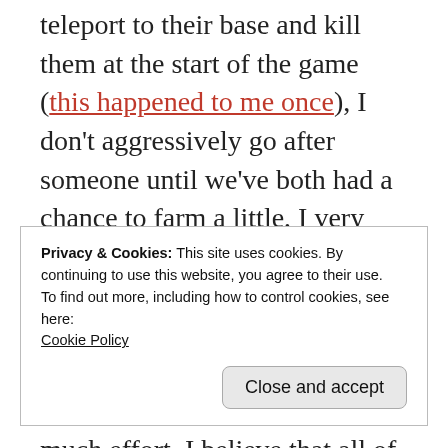teleport to their base and kill them at the start of the game (this happened to me once), I don't aggressively go after someone until we've both had a chance to farm a little, I very rarely turret dive, and if someone is trying to escape/recall with very low health I usually just let them if pursuing them would be too much effort. I believe that all of those things are unsportsmanlike, but that's what literally everyone does in LOL – unless you're a support!! Then, your teammates can just do that shit and you can sit back and watch. (I mean, you can only
Privacy & Cookies: This site uses cookies. By continuing to use this website, you agree to their use.
To find out more, including how to control cookies, see here:
Cookie Policy
Close and accept